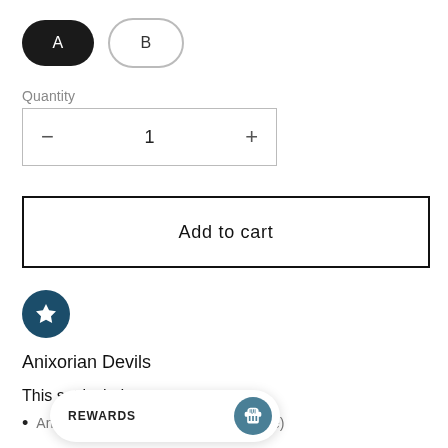[Figure (other): Two color/variant selector buttons: a black filled pill labeled A and a white outlined pill labeled B]
Quantity
[Figure (other): Quantity stepper control with minus button, number 1, and plus button inside a rectangular border]
Add to cart
[Figure (other): Dark teal circle with a white star icon (favorites/wishlist button)]
Anixorian Devils
This set includes:
Anixorian Devils - 2 poses (50mm base)
[Figure (other): Rewards widget: white pill-shaped bar with REWARDS text and a teal circle icon with gift/cake symbol]